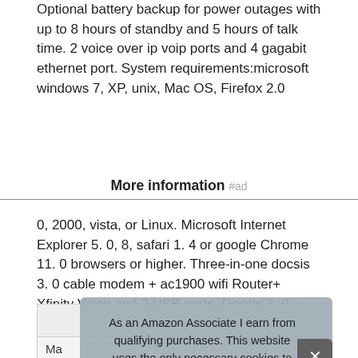Optional battery backup for power outages with up to 8 hours of standby and 5 hours of talk time. 2 voice over ip voip ports and 4 gagabit ethernet port. System requirements:microsoft windows 7, XP, unix, Mac OS, Firefox 2.0
More information #ad
0, 2000, vista, or Linux. Microsoft Internet Explorer 5. 0, 8, safari 1. 4 or google Chrome 11. 0 browsers or higher. Three-in-one docsis 3. 0 cable modem + ac1900 wifi Router+ Xfinity Voice and 2 USB ports. Docsis 3. 0 unleashes 24x faster download speeds than DOCSIS 2. 0 .
| Ma |  |
As an Amazon Associate I earn from qualifying purchases. This website uses the only necessary cookies to ensure you get the best experience on our website. More information